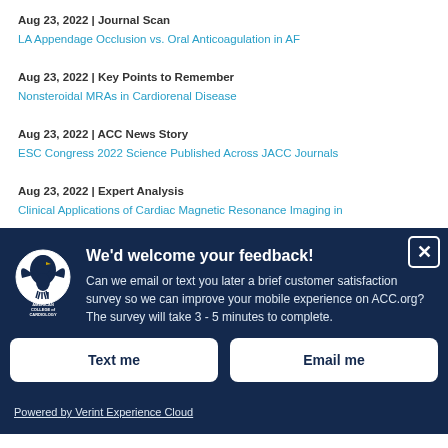Aug 23, 2022 | Journal Scan
LA Appendage Occlusion vs. Oral Anticoagulation in AF
Aug 23, 2022 | Key Points to Remember
Nonsteroidal MRAs in Cardiorenal Disease
Aug 23, 2022 | ACC News Story
ESC Congress 2022 Science Published Across JACC Journals
Aug 23, 2022 | Expert Analysis
Clinical Applications of Cardiac Magnetic Resonance Imaging in
[Figure (logo): American College of Cardiology logo (white circular emblem with eagle)]
We'd welcome your feedback! Can we email or text you later a brief customer satisfaction survey so we can improve your mobile experience on ACC.org? The survey will take 3 - 5 minutes to complete.
Text me
Email me
Powered by Verint Experience Cloud